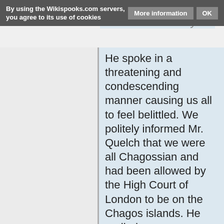By using the Wikispooks.com servers, you agree to its use of cookies   More information   OK
ordered us on the island immediately. He spoke in a threatening and condescending manner causing us all to feel belittled. We politely informed Mr. Quelch that we were all Chagossian and had been allowed by the High Court of London to be on the Chagos islands. He replied